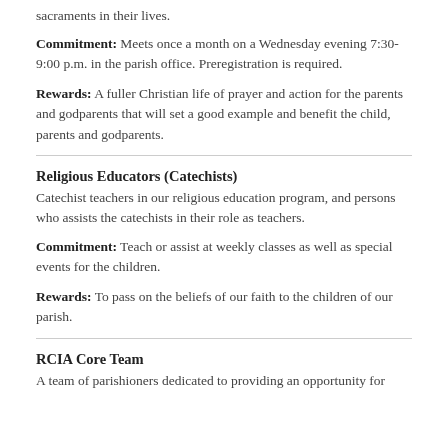sacraments in their lives.
Commitment:  Meets once a month on a Wednesday evening 7:30-9:00 p.m. in the parish office.  Preregistration is required.
Rewards:  A fuller Christian life of prayer and action for the parents and godparents that will set a good example and benefit the child, parents and godparents.
Religious Educators (Catechists)
Catechist teachers in our religious education program, and persons who assists the catechists in their role as teachers.
Commitment:  Teach or assist at weekly classes as well as special events for the children.
Rewards:  To pass on the beliefs of our faith to the children of our parish.
RCIA Core Team
A team of parishioners dedicated to providing an opportunity for